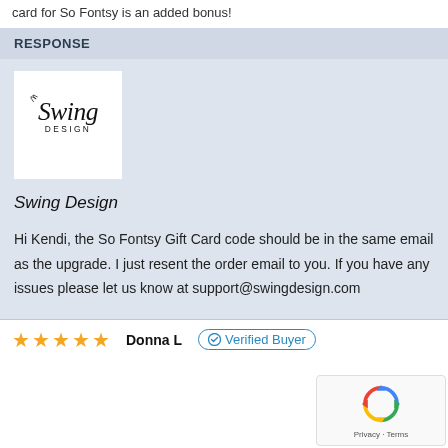card for So Fontsy is an added bonus!
RESPONSE
[Figure (logo): Swing Design logo in black script on white background]
Swing Design
Hi Kendi, the So Fontsy Gift Card code should be in the same email as the upgrade. I just resent the order email to you. If you have any issues please let us know at support@swingdesign.com
Donna L   Verified Buyer